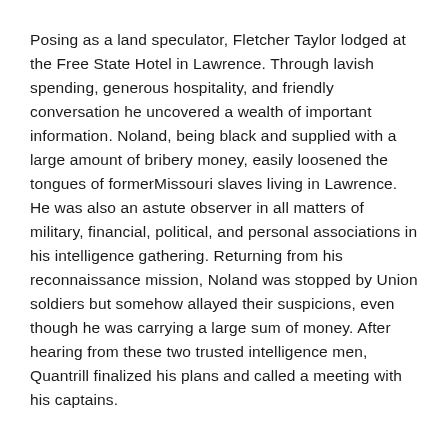Posing as a land speculator, Fletcher Taylor lodged at the Free State Hotel in Lawrence. Through lavish spending, generous hospitality, and friendly conversation he uncovered a wealth of important information. Noland, being black and supplied with a large amount of bribery money, easily loosened the tongues of formerMissouri slaves living in Lawrence. He was also an astute observer in all matters of military, financial, political, and personal associations in his intelligence gathering. Returning from his reconnaissance mission, Noland was stopped by Union soldiers but somehow allayed their suspicions, even though he was carrying a large sum of money. After hearing from these two trusted intelligence men, Quantrill finalized his plans and called a meeting with his captains.